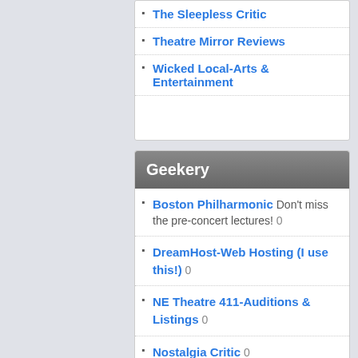The Sleepless Critic
Theatre Mirror Reviews
Wicked Local-Arts & Entertainment
Geekery
Boston Philharmonic Don't miss the pre-concert lectures! 0
DreamHost-Web Hosting (I use this!) 0
NE Theatre 411-Auditions & Listings 0
Nostalgia Critic 0
TED Talks 0
Volunteer Lawyers for the Arts 0
Get new posts by email
Enter your email